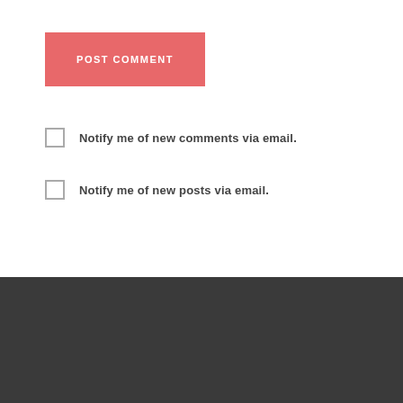POST COMMENT
Notify me of new comments via email.
Notify me of new posts via email.
©2021 Mo Stone. All text and images are created by Mo Stone, unless otherwise stated.